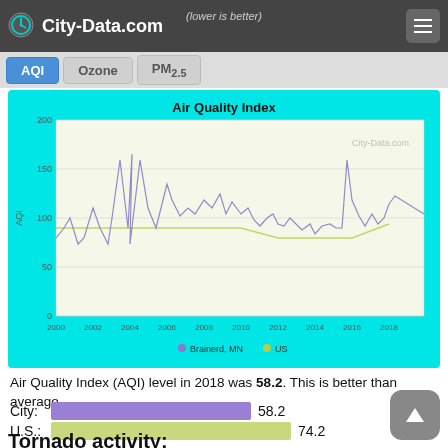(lower is better)
City-Data.com
AQI   Ozone   PM2.5
[Figure (line-chart): Air Quality Index]
Air Quality Index (AQI) level in 2018 was 58.2. This is better than average.
City: 58.2
U.S.: 74.2
Tornado activity: